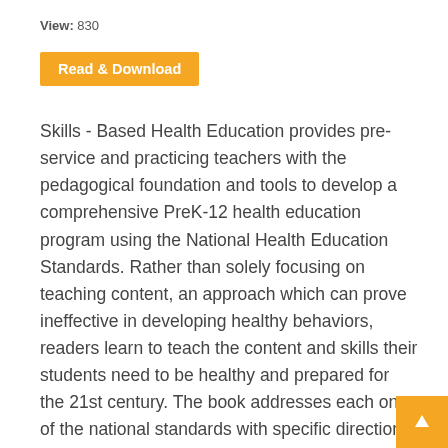View: 830
Read & Download
Skills - Based Health Education provides pre-service and practicing teachers with the pedagogical foundation and tools to develop a comprehensive PreK-12 health education program using the National Health Education Standards. Rather than solely focusing on teaching content, an approach which can prove ineffective in developing healthy behaviors, readers learn to teach the content and skills their students need to be healthy and prepared for the 21st century. The book addresses each one of the national standards with specific directions regarding how to apply the standard, and performance indicators to plan and implement performance tasks that target instruction to a student need. Readers are shown how to establish student need, select content and skill